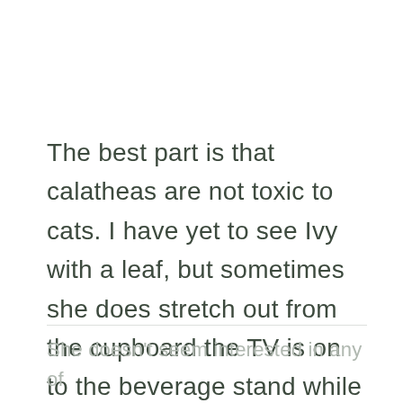The best part is that calatheas are not toxic to cats. I have yet to see Ivy with a leaf, but sometimes she does stretch out from the cupboard the TV is on to the beverage stand while I'm gone and scratch out some of the dirt.
She doesn't seem interested in any of